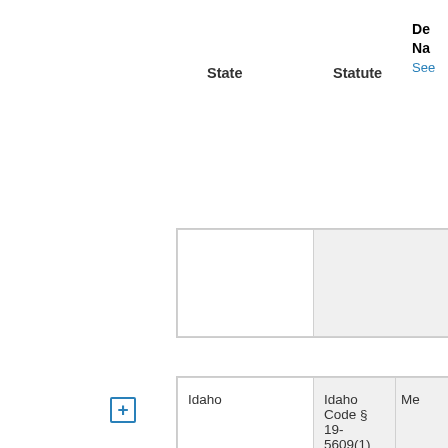| State | Statute | De... Na... See... |
| --- | --- | --- |
|  |  |  |
| Idaho | Idaho Code § 19-5609(1) | Me... |
| Illinois | 730 Ill. Comp. Stat. 167/5 | Ve... Se... Co... |